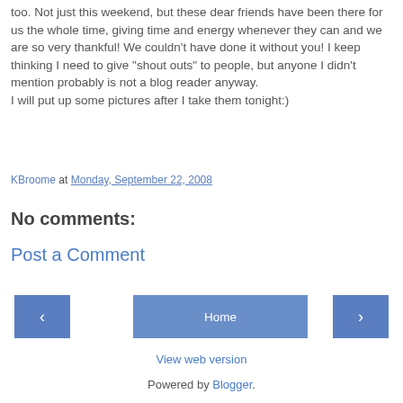too. Not just this weekend, but these dear friends have been there for us the whole time, giving time and energy whenever they can and we are so very thankful! We couldn't have done it without you! I keep thinking I need to give "shout outs" to people, but anyone I didn't mention probably is not a blog reader anyway.
I will put up some pictures after I take them tonight:)
KBroome at Monday, September 22, 2008
No comments:
Post a Comment
‹  Home  ›
View web version
Powered by Blogger.